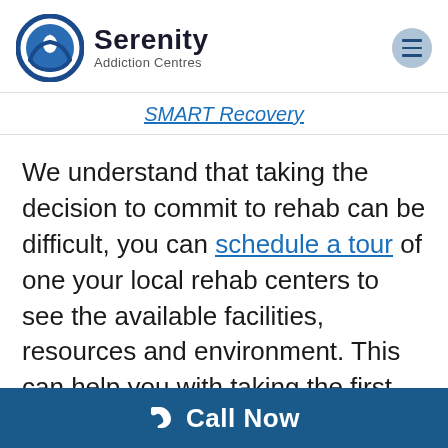[Figure (logo): Serenity Addiction Centres logo with circular blue icon featuring a water drop and hands, alongside text 'Serenity Addiction Centres']
SMART Recovery
We understand that taking the decision to commit to rehab can be difficult, you can schedule a tour of one your local rehab centers to see the available facilities, resources and environment. This can help you with taking the first steps towards your
Call Now